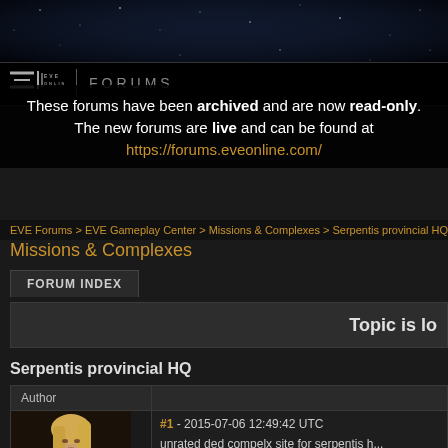[Figure (photo): Space background with stars, dark blue-black nebula]
EVE FORUMS
These forums have been archived and are now read-only. The new forums are live and can be found at https://forums.eveonline.com/
EVE Forums > EVE Gameplay Center > Missions & Complexes > Serpentis provincial HQ
Missions & Complexes
FORUM INDEX
Topic is lo
Serpentis provincial HQ
| Author |  |
| --- | --- |
|  | #1 - 2015-07-06 12:49:42 UTC
unrated ded compelx site for serpentis h...
maybe ive just got bad luck and i do kno...
and effort you put in this i think the loot... |
[Figure (photo): EVE Online character avatar - blonde female character portrait]